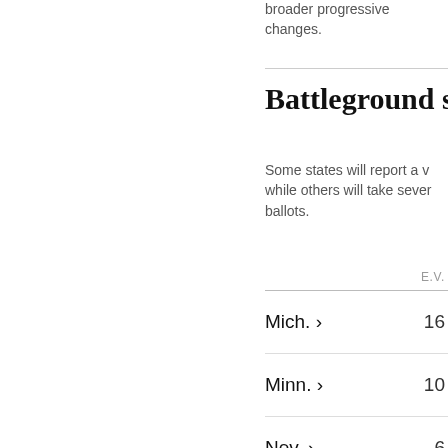broader progressive changes.
Battleground stat
Some states will report a v while others will take sever ballots.
|  | E.V. | MARG |
| --- | --- | --- |
| Mich. › | 16 | ✓ Bide |
| Minn. › | 10 | ✓ Bide |
| Nev. › | 6 | ✓ Bide |
| Pa. › | 20 | ✓ Bide |
| Wis. › | 10 | ✓ Bide |